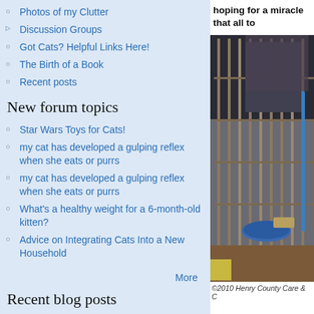Photos of my Clutter
Discussion Groups
Got Cats? Helpful Links Here!
The Birth of a Book
Recent posts
New forum topics
Star Wars Toys for Cats!
my cat has developed a gulping reflex when she eats or purrs
my cat has developed a gulping reflex when she eats or purrs
What's a healthy weight for a 6-month-old kitten?
Advice on Integrating Cats Into a New Household
More
Recent blog posts
hoping for a miracle that all to
[Figure (photo): A cat in a wire cage/carrier, with food bowls and supplies visible inside. Photo credit: ©2010 Henry County Care & C...]
©2010 Henry County Care & C